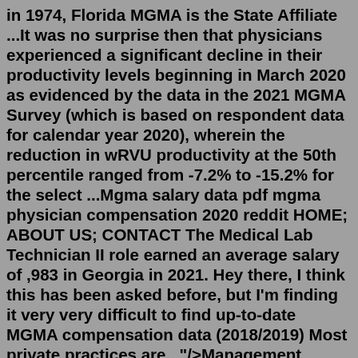in 1974, Florida MGMA is the State Affiliate ...It was no surprise then that physicians experienced a significant decline in their productivity levels beginning in March 2020 as evidenced by the data in the 2021 MGMA Survey (which is based on respondent data for calendar year 2020), wherein the reduction in wRVU productivity at the 50th percentile ranged from -7.2% to -15.2% for the select ...Mgma salary data pdf mgma physician compensation 2020 reddit HOME; ABOUT US; CONTACT The Medical Lab Technician II role earned an average salary of ,983 in Georgia in 2021. Hey there, I think this has been asked before, but I'm finding it very very difficult to find up-to-date MGMA compensation data (2018/2019) Most private practices are.. "/>Management Association (MGMA) and the American Medical Group Association (AMGA). Intuitively, if a physician produces work RVUs at the 60th percentile, his or her ... compensation per work RVU ($83.55) by the physician's actual work RVUs produces compensation of $875,000. This amount is